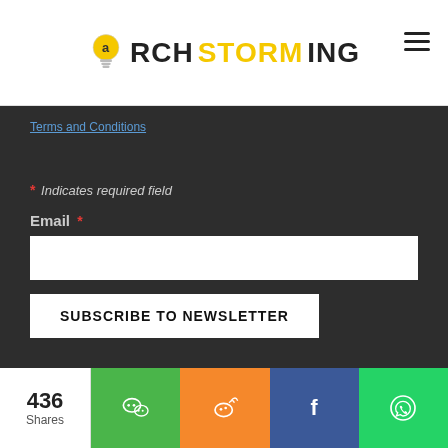ARCHSTORMING
Terms and Conditions
* Indicates required field
Email *
SUBSCRIBE TO NEWSLETTER
436 Shares